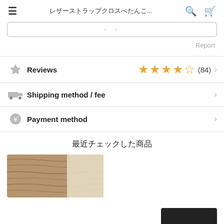レザーストラップクロスぺたんこ...
Report
Reviews (84) 4.5 stars
Shipping method / fee
Payment method
最近チェックした商品
[Figure (photo): Product photo showing a brown wood-grained surface with a cream/ivory fabric item partially visible]